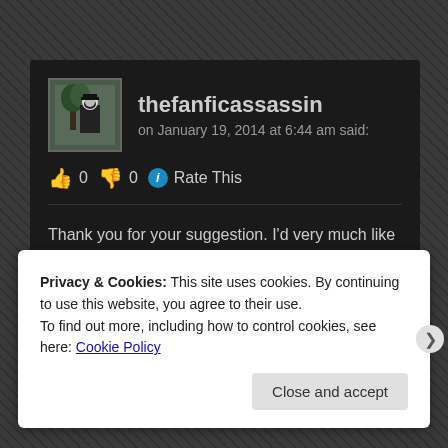[Figure (screenshot): User avatar for thefanficassassin - person in mask near tree]
thefanficassassin
on January 19, 2014 at 6:44 am said:
👍 0 👎 0 ℹ Rate This
Thank you for your suggestion. I'd very much like to do that a right now. Look for it very soon.
[Figure (illustration): Green diamond pattern avatar for Chick-a-Chick]
Chick-a-Chick
Privacy & Cookies: This site uses cookies. By continuing to use this website, you agree to their use.
To find out more, including how to control cookies, see here: Cookie Policy
Close and accept